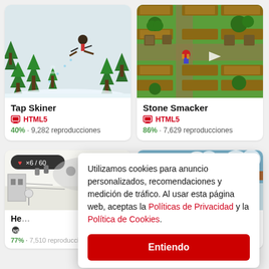[Figure (screenshot): Tap Skiner game thumbnail showing a snowy scene with pine trees and a skiing character]
Tap Skiner
HTML5
40% · 9,282 reproducciones
[Figure (screenshot): Stone Smacker game thumbnail showing a top-down RPG style green field with wooden fences and a character]
Stone Smacker
HTML5
86% · 7,629 reproducciones
[Figure (screenshot): Partial thumbnail of game with HUD showing heart and 6/60 counter, sketch-like snow map]
He
77% · 7,510 reproducciones
[Figure (screenshot): Partial thumbnail of winter/snowy scene game]
92% · 4,445 reproducciones
Utilizamos cookies para anuncio personalizados, recomendaciones y medición de tráfico. Al usar esta página web, aceptas la Políticas de Privacidad y la Política de Cookies.
Entiendo